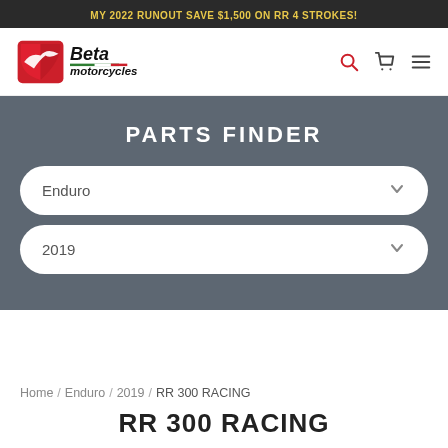MY 2022 RUNOUT SAVE $1,500 ON RR 4 STROKES!
[Figure (logo): Beta Motorcycles logo with red/white shield icon and italic text 'Beta motorcycles' with Italian flag stripe]
PARTS FINDER
Enduro
2019
Home / Enduro / 2019 / RR 300 RACING
RR 300 RACING